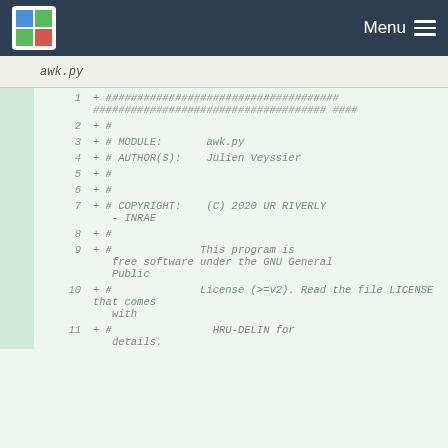Menu
awk.py
1  + ############################################################################################################ 
2  + # 
3  + # MODULE:        awk.py
4  + # AUTHOR(S):    Julien Veyssier
5  + # #
6  + # #
7  + # COPYRIGHT:    (C) 2020 UR RIVERLY - INRAE
8  + # #
9  + # #               This program is free software under the GNU General Public
10 + # #               License (>=v2). Read the file LICENSE that comes with
11 + # #               HRU-DELIN for details.